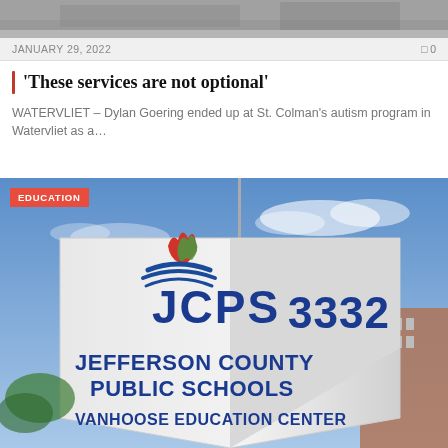[Figure (photo): Partial top image, cropped photo background]
JANUARY 29, 2022   0
'These services are not optional'
WATERVLIET – Dylan Goering ended up at St. Colman's autism program in Watervliet as a…
[Figure (photo): Photo of JCPS (Jefferson County Public Schools) Vanhoose Education Center sign, number 3332, with blue sky background. Red badge labeled EDUCATION in top left corner.]